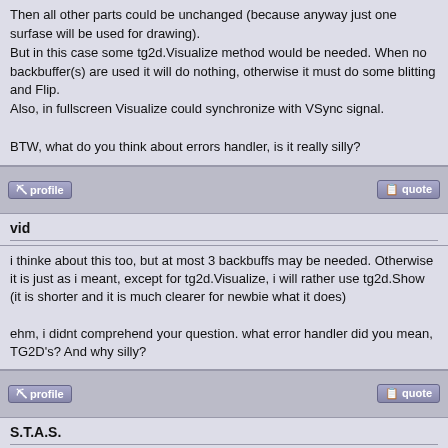Then all other parts could be unchanged (because anyway just one surfase will be used for drawing).
But in this case some tg2d.Visualize method would be needed. When no backbuffer(s) are used it will do nothing, otherwise it must do some blitting and Flip.
Also, in fullscreen Visualize could synchronize with VSync signal.

BTW, what do you think about errors handler, is it really silly?
vid
i thinke about this too, but at most 3 backbuffs may be needed. Otherwise it is just as i meant, except for tg2d.Visualize, i will rather use tg2d.Show (it is shorter and it is much clearer for newbie what it does)

ehm, i didnt comprehend your question. what error handler did you mean, TG2D's? And why silly?
S.T.A.S.
Yeah, about name "Show" it'd be better
vid wrote:
. what error handler did you mean, TG2D's? And why illy?